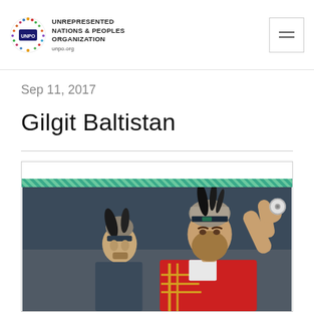UNREPRESENTED NATIONS & PEOPLES ORGANIZATION unpo.org
Sep 11, 2017
Gilgit Baltistan
[Figure (photo): A bearded man in traditional red and gold embroidered costume and feathered hat holds up a small round object. A second man in similar traditional attire stands behind him. The setting appears to be an outdoor cultural event.]